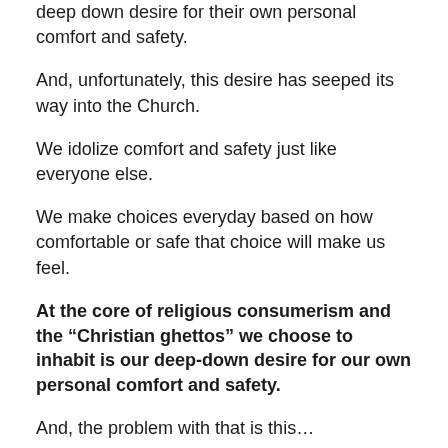deep down desire for their own personal comfort and safety.
And, unfortunately, this desire has seeped its way into the Church.
We idolize comfort and safety just like everyone else.
We make choices everyday based on how comfortable or safe that choice will make us feel.
At the core of religious consumerism and the “Christian ghettos” we choose to inhabit is our deep-down desire for our own personal comfort and safety.
And, the problem with that is this…
We’re actually surprised when we have to face hard things.